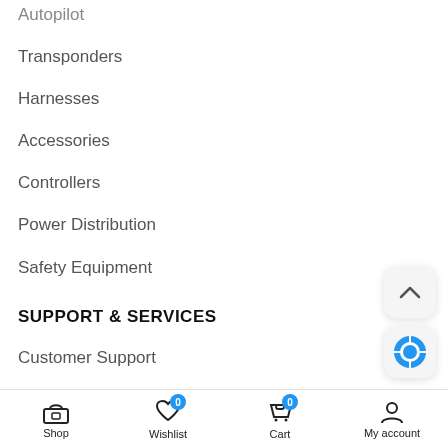Autopilot
Transponders
Harnesses
Accessories
Controllers
Power Distribution
Safety Equipment
SUPPORT & SERVICES
Customer Support
Database Updates
Support Portal
Shop | Wishlist 0 | Cart 0 | My account